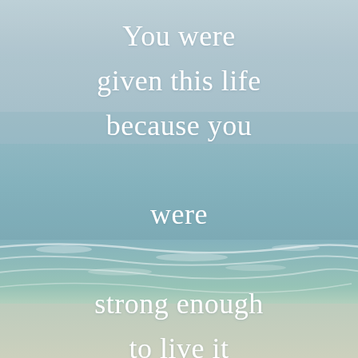[Figure (illustration): Aerial view of a beach and ocean with soft muted teal and grey tones. Sky blends into calm sea, gentle waves break on the sandy shore in the lower portion.]
You were given this life because you were strong enough to live it